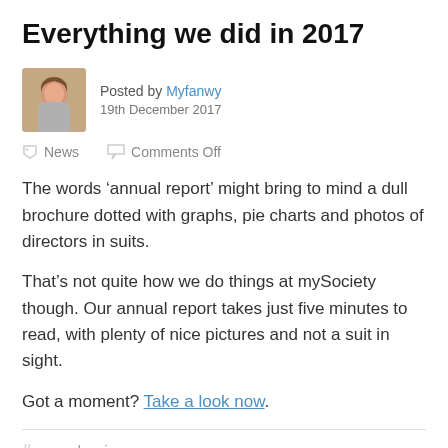Everything we did in 2017
Posted by Myfanwy
19th December 2017
News   Comments Off
The words ‘annual report’ might bring to mind a dull brochure dotted with graphs, pie charts and photos of directors in suits.
That’s not quite how we do things at mySociety though. Our annual report takes just five minutes to read, with plenty of nice pictures and not a suit in sight.
Got a moment? Take a look now.
annual review